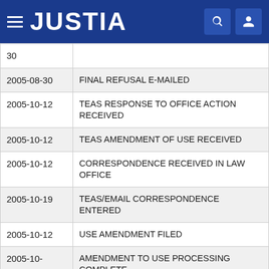JUSTIA
| Date | Event |
| --- | --- |
| 30 |  |
| 2005-08-30 | FINAL REFUSAL E-MAILED |
| 2005-10-12 | TEAS RESPONSE TO OFFICE ACTION RECEIVED |
| 2005-10-12 | TEAS AMENDMENT OF USE RECEIVED |
| 2005-10-12 | CORRESPONDENCE RECEIVED IN LAW OFFICE |
| 2005-10-19 | TEAS/EMAIL CORRESPONDENCE ENTERED |
| 2005-10-12 | USE AMENDMENT FILED |
| 2005-10- | AMENDMENT TO USE PROCESSING COMPLETE |